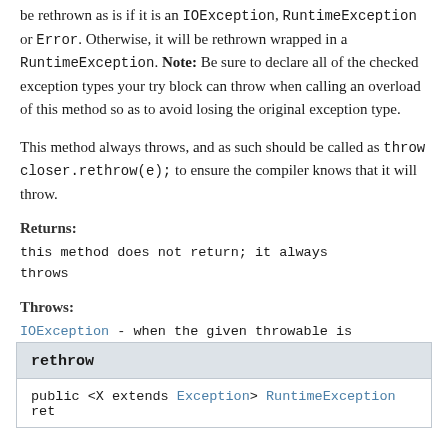be rethrown as is if it is an IOException, RuntimeException or Error. Otherwise, it will be rethrown wrapped in a RuntimeException. Note: Be sure to declare all of the checked exception types your try block can throw when calling an overload of this method so as to avoid losing the original exception type.
This method always throws, and as such should be called as throw closer.rethrow(e); to ensure the compiler knows that it will throw.
Returns:
this method does not return; it always throws
Throws:
IOException - when the given throwable is an IOException
rethrow
public <X extends Exception> RuntimeException ret